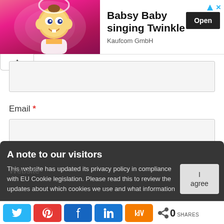[Figure (screenshot): Advertisement banner for 'Babsy Baby singing Twinkle' by Kaufcom GmbH with baby cartoon image, Open button, and ad icons]
Email *
A note to our visitors
This website has updated its privacy policy in compliance with EU Cookie legislation. Please read this to review the updates about which cookies we use and what information
[Figure (screenshot): Social share bar with Twitter, Pinterest, Facebook, LinkedIn, Mix buttons and share count of 0]